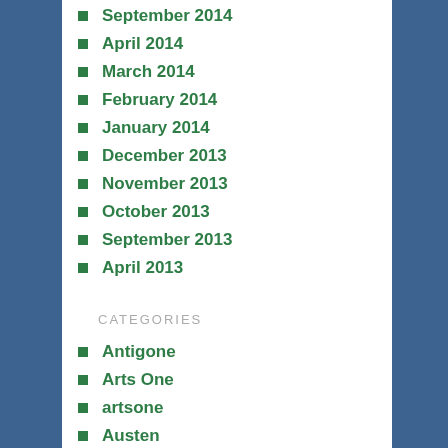September 2014
April 2014
March 2014
February 2014
January 2014
December 2013
November 2013
October 2013
September 2013
April 2013
CATEGORIES
Antigone
Arts One
artsone
Austen
Camus
Christopher Marlowe
Columbus
Columbus day
Death